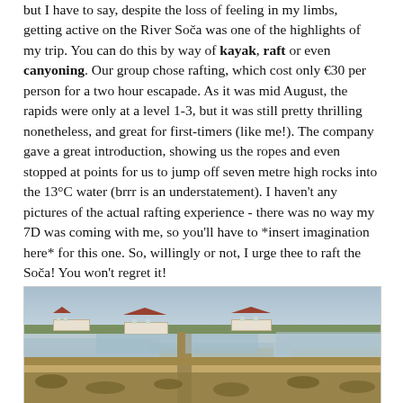but I have to say, despite the loss of feeling in my limbs, getting active on the River Soča was one of the highlights of my trip. You can do this by way of kayak, raft or even canyoning. Our group chose rafting, which cost only €30 per person for a two hour escapade. As it was mid August, the rapids were only at a level 1-3, but it was still pretty thrilling nonetheless, and great for first-timers (like me!). The company gave a great introduction, showing us the ropes and even stopped at points for us to jump off seven metre high rocks into the 13°C water (brrr is an understatement). I haven't any pictures of the actual rafting experience - there was no way my 7D was coming with me, so you'll have to *insert imagination here* for this one. So, willingly or not, I urge thee to raft the Soča! You won't regret it!
[Figure (photo): A landscape photo showing salt pans or shallow water channels with earthen dikes/paths, white buildings with reddish roofs in the background, green vegetation on the horizon, and dry grassy foreground. Appears to be a coastal wetland or salt flat area.]